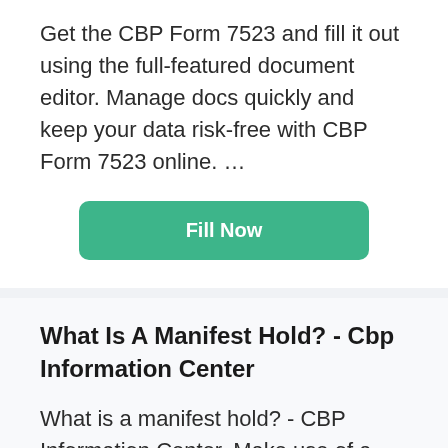Get the CBP Form 7523 and fill it out using the full-featured document editor. Manage docs quickly and keep your data risk-free with CBP Form 7523 online. …
[Figure (other): Green rounded button labeled 'Fill Now']
What Is A Manifest Hold? - Cbp Information Center
What is a manifest hold? - CBP Information Center. Make use of a electronic solution to create, edit and sign contracts in PDF or Word format online. Transform them into templates for numerous use, include fillable fields to gather